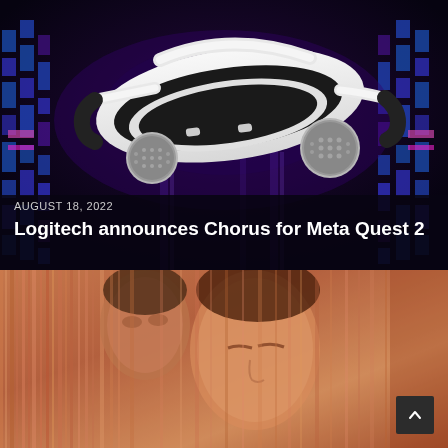[Figure (photo): Top section: VR headset (Logitech Chorus for Meta Quest 2) floating against a dark purple/blue cyberpunk background with glowing blue and magenta pixel-art column patterns on the sides. The white headset has two circular mesh speaker attachments.]
AUGUST 18, 2022
Logitech announces Chorus for Meta Quest 2
[Figure (photo): Bottom section: blurry/motion-blurred photo of two people (a man and a woman) with warm red, orange, and pink tones. A dark square scroll-to-top button with a caret/chevron icon is visible in the bottom-right corner.]